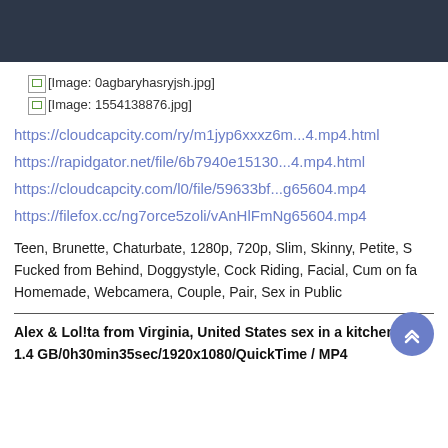[Figure (other): Broken image placeholder for 0agbaryhasryjsh.jpg]
[Figure (other): Broken image placeholder for 1554138876.jpg]
https://cloudcapcity.com/ry/m1jyp6xxxz6m...4.mp4.html
https://rapidgator.net/file/6b7940e15130...4.mp4.html
https://cloudcapcity.com/l0/file/59633bf...g65604.mp4
https://filefox.cc/ng7orce5zoli/vAnHlFmNg65604.mp4
Teen, Brunette, Chaturbate, 1280p, 720p, Slim, Skinny, Petite, S Fucked from Behind, Doggystyle, Cock Riding, Facial, Cum on fa Homemade, Webcamera, Couple, Pair, Sex in Public
Alex & Lol!ta from Virginia, United States sex in a kitchen N 1.4 GB/0h30min35sec/1920x1080/QuickTime / MP4